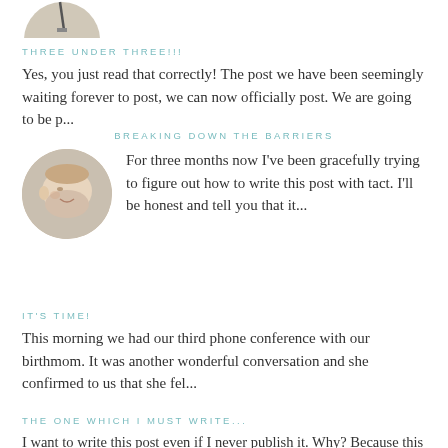[Figure (photo): Partial circular avatar/logo image at top left, cut off at top]
THREE UNDER THREE!!!
Yes, you just read that correctly! The post we have been seemingly waiting forever to post, we can now officially post. We are going to be p...
BREAKING DOWN THE BARRIERS
[Figure (photo): Circular photo of a sleeping baby]
For three months now I've been gracefully trying to figure out how to write this post with tact. I'll be honest and tell you that it...
IT'S TIME!
This morning we had our third phone conference with our birthmom. It was another wonderful conversation and she confirmed to us that she fel...
THE ONE WHICH I MUST WRITE...
I want to write this post even if I never publish it. Why? Because this is...